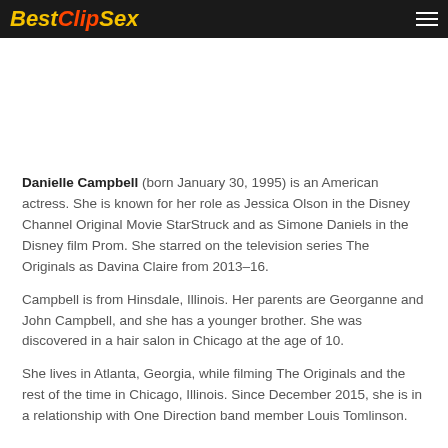BestClipSex
Danielle Campbell (born January 30, 1995) is an American actress. She is known for her role as Jessica Olson in the Disney Channel Original Movie StarStruck and as Simone Daniels in the Disney film Prom. She starred on the television series The Originals as Davina Claire from 2013–16.
Campbell is from Hinsdale, Illinois. Her parents are Georganne and John Campbell, and she has a younger brother. She was discovered in a hair salon in Chicago at the age of 10.
She lives in Atlanta, Georgia, while filming The Originals and the rest of the time in Chicago, Illinois. Since December 2015, she is in a relationship with One Direction band member Louis Tomlinson.